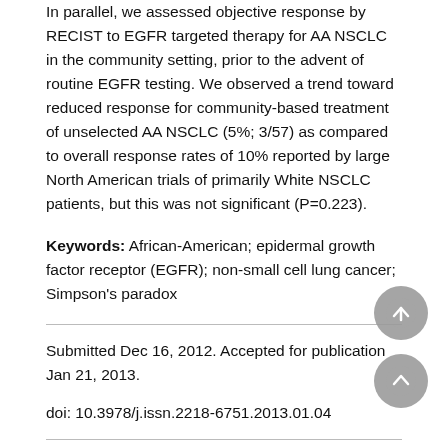In parallel, we assessed objective response by RECIST to EGFR targeted therapy for AA NSCLC in the community setting, prior to the advent of routine EGFR testing. We observed a trend toward reduced response for community-based treatment of unselected AA NSCLC (5%; 3/57) as compared to overall response rates of 10% reported by large North American trials of primarily White NSCLC patients, but this was not significant (P=0.223).
Keywords: African-American; epidermal growth factor receptor (EGFR); non-small cell lung cancer; Simpson's paradox
Submitted Dec 16, 2012. Accepted for publication Jan 21, 2013.
doi: 10.3978/j.issn.2218-6751.2013.01.04
Substantial discrepancy has recently emerged regarding the true frequency of activating epidermal growth factor receptor (EGFR) mutations in African American (AA) NSCLC subpopulations.